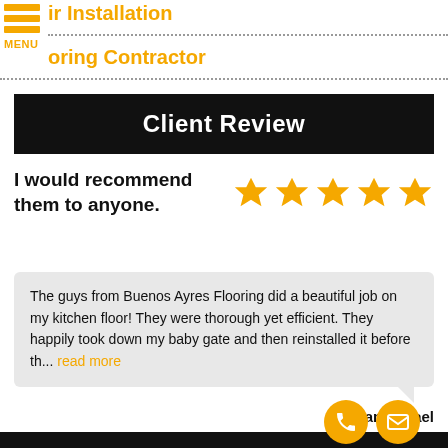ir Installation
MENU
oring Contractor
Client Review
I would recommend them to anyone.
[Figure (other): Five gold star rating icons]
The guys from Buenos Ayres Flooring did a beautiful job on my kitchen floor! They were thorough yet efficient. They happily took down my baby gate and then reinstalled it before th... read more
- Elana Israel
[Figure (other): Phone button icon (orange circle with phone handset)]
[Figure (other): Email button icon (orange circle with envelope)]